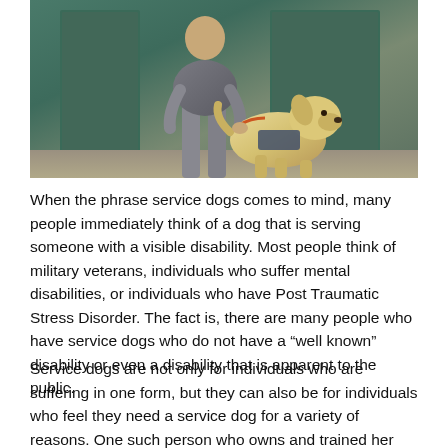[Figure (photo): A person in a gray outfit bending down to interact with a golden/yellow Labrador service dog wearing a vest, standing in front of a teal/green wall or door.]
When the phrase service dogs comes to mind, many people immediately think of a dog that is serving someone with a visible disability. Most people think of military veterans, individuals who suffer mental disabilities, or individuals who have Post Traumatic Stress Disorder. The fact is, there are many people who have service dogs who do not have a "well known" disability or even a disability that is apparent to the public.
Service dogs are not only for individuals who are suffering in one form, but they can also be for individuals who feel they need a service dog for a variety of reasons. One such person who owns and trained her own service dog is Patty Grotberg